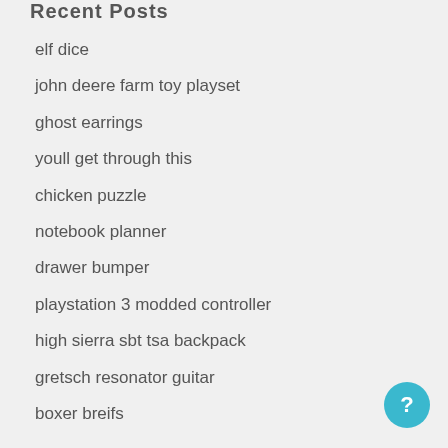Recent Posts
elf dice
john deere farm toy playset
ghost earrings
youll get through this
chicken puzzle
notebook planner
drawer bumper
playstation 3 modded controller
high sierra sbt tsa backpack
gretsch resonator guitar
boxer breifs